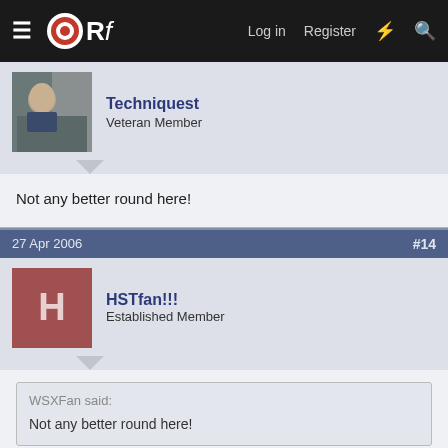ORf   Log in   Register
Techniquest
Veteran Member
Not any better round here!
27 Apr 2006   #14
HSTfan!!!
Established Member
WSXFan said:
Not any better round here!
Well not round our hometowns maybe... but mmmm sorry thinking of a certain person lol.....
27 Apr 2006   #15